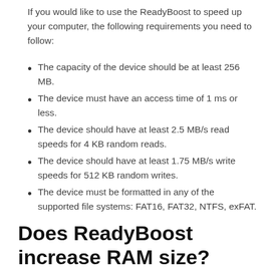If you would like to use the ReadyBoost to speed up your computer, the following requirements you need to follow:
The capacity of the device should be at least 256 MB.
The device must have an access time of 1 ms or less.
The device should have at least 2.5 MB/s read speeds for 4 KB random reads.
The device should have at least 1.75 MB/s write speeds for 512 KB random writes.
The device must be formatted in any of the supported file systems: FAT16, FAT32, NTFS, exFAT.
Does ReadyBoost increase RAM size?